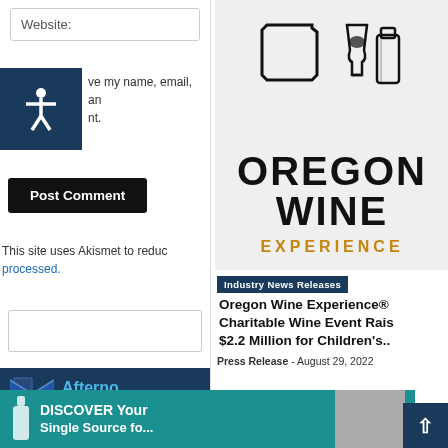Website:
Save my name, email, and website in this browser for the next time I comment.
Post Comment
This site uses Akismet to reduce spam. Learn how your comment data is processed.
[Figure (screenshot): Newsletter signup banner with envelope icon, 'Afternoon' wine industry text, and 'Free Subs' button]
[Figure (logo): Oregon Wine Experience logo with wine glass and bottle icons, text OREGON WINE EXPERIENCE in black and gold]
Industry News Releases
Oregon Wine Experience® Charitable Wine Event Raises $2.2 Million for Children's...
Press Release - August 29, 2022
[Figure (screenshot): DISCOVER Your Single Source for... banner in teal with white text and a product image]